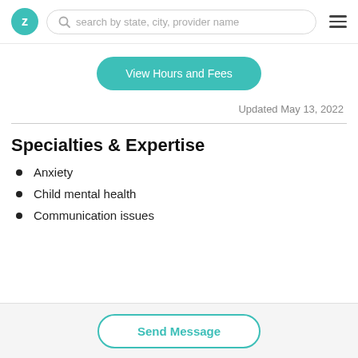Z search by state, city, provider name
View Hours and Fees
Updated May 13, 2022
Specialties & Expertise
Anxiety
Child mental health
Communication issues
Send Message